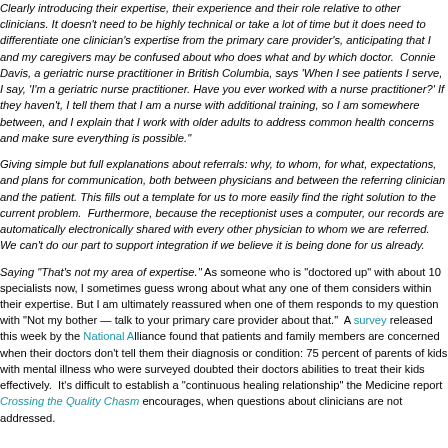Clearly introducing their expertise, their experience and their role relative to other clinicians. It doesn't need to be highly technical or take a lot of time but it does need to differentiate one clinician's expertise from the primary care provider's, anticipating that I and my caregivers may be confused about who does what and by which doctor. Connie Davis, a geriatric nurse practitioner in British Columbia, says 'When I see patients I serve, I say, 'I'm a geriatric nurse practitioner. Have you ever worked with a nurse practitioner?' If they haven't, I tell them that I am a nurse with additional training, so I am somewhere between, and I explain that I work with older adults to address common health concerns and make sure everything is possible.'
Giving simple but full explanations about referrals: why, to whom, for what, expectations, and plans for communication, both between physicians and between the referring clinician and the patient. This fills out a template for us to more easily find the right solution to the current problem. Furthermore, because the receptionist uses a computer, our records are automatically electronically shared with every other physician to whom we are referred. We can't do our part to support integration if we believe it is being done for us already.
Saying "That's not my area of expertise." As someone who is "doctored up" with about 10 specialists now, I sometimes guess wrong about what any one of them considers within their expertise. But I am ultimately reassured when one of them responds to my question with "Not my bother — talk to your primary care provider about that." A survey released this week by the National Alliance found that patients and family members are concerned when their doctors don't tell them their diagnosis or condition: 75 percent of parents of kids with mental illness who were surveyed doubted their doctors abilities to treat their kids effectively. It's difficult to establish a "continuous healing relationship" the Medicine report Crossing the Quality Chasm encourages, when questions about clinicians are not addressed.